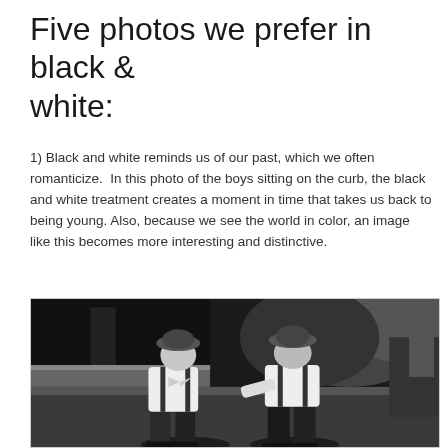Five photos we prefer in black & white:
1) Black and white reminds us of our past, which we often romanticize.  In this photo of the boys sitting on the curb, the black and white treatment creates a moment in time that takes us back to being young. Also, because we see the world in color, an image like this becomes more interesting and distinctive.
[Figure (photo): Black and white photograph of two young boys sitting on a curb. Both boys are wearing flat caps, white shirts, suspenders, and dark trousers. They appear to be looking at each other. Background shows trees, foliage, and a low stone wall.]